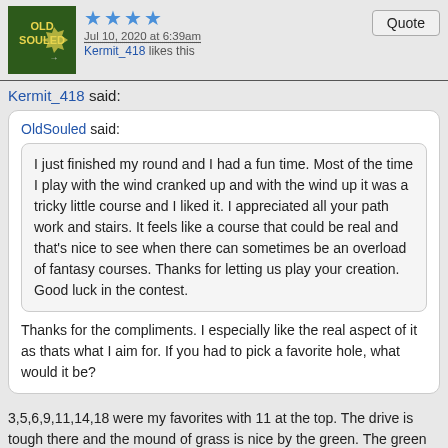Jul 10, 2020 at 6:39am | Kermit_418 likes this
Kermit_418 said:
OldSouled said:
I just finished my round and I had a fun time. Most of the time I play with the wind cranked up and with the wind up it was a tricky little course and I liked it. I appreciated all your path work and stairs. It feels like a course that could be real and that's nice to see when there can sometimes be an overload of fantasy courses. Thanks for letting us play your creation. Good luck in the contest.
Thanks for the compliments. I especially like the real aspect of it as thats what I aim for. If you had to pick a favorite hole, what would it be?
3,5,6,9,11,14,18 were my favorites with 11 at the top. The drive is tough there and the mound of grass is nice by the green. The green is framed really well right there.
Kermit_418